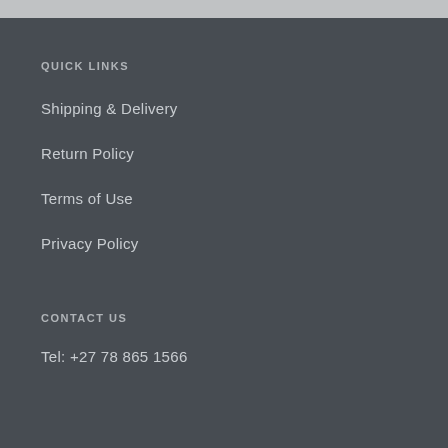QUICK LINKS
Shipping & Delivery
Return Policy
Terms of Use
Privacy Policy
CONTACT US
Tel: +27 78 865 1566